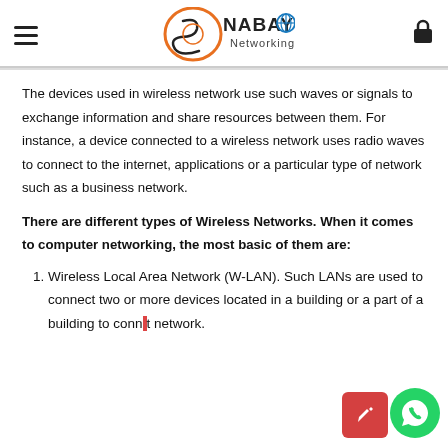NABAYO Networking
The devices used in wireless network use such waves or signals to exchange information and share resources between them. For instance, a device connected to a wireless network uses radio waves to connect to the internet, applications or a particular type of network such as a business network.
There are different types of Wireless Networks. When it comes to computer networking, the most basic of them are:
Wireless Local Area Network (W-LAN). Such LANs are used to connect two or more devices located in a building or a part of a building to connect to a network.